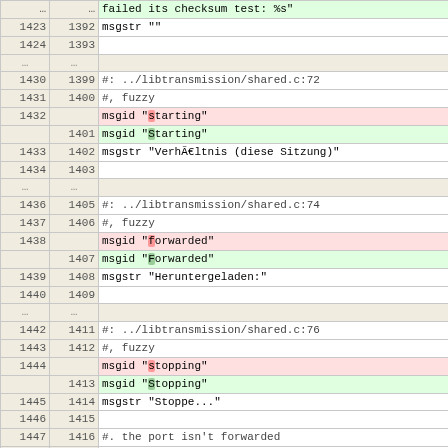| Line A | Line B | Code |
| --- | --- | --- |
| ... | ... | failed its checksum test: %s" |
| 1423 | 1392 | msgstr "" |
| 1424 | 1393 |  |
| ... | ... |  |
| 1430 | 1399 | #: ../libtransmission/shared.c:72 |
| 1431 | 1400 | #, fuzzy |
| 1432 |  | msgid "starting" |
|  | 1401 | msgid "Starting" |
| 1433 | 1402 | msgstr "VerhÃ€ltnis (diese Sitzung)" |
| 1434 | 1403 |  |
| ... | ... |  |
| 1436 | 1405 | #: ../libtransmission/shared.c:74 |
| 1437 | 1406 | #, fuzzy |
| 1438 |  | msgid "forwarded" |
|  | 1407 | msgid "Forwarded" |
| 1439 | 1408 | msgstr "Heruntergeladen:" |
| 1440 | 1409 |  |
| ... | ... |  |
| 1442 | 1411 | #: ../libtransmission/shared.c:76 |
| 1443 | 1412 | #, fuzzy |
| 1444 |  | msgid "stopping" |
|  | 1413 | msgid "Stopping" |
| 1445 | 1414 | msgstr "Stoppe..." |
| 1446 | 1415 |  |
| 1447 | 1416 | #. the port isn't forwarded |
| 1448 | 1417 | #: ../libtransmission/shared.c:78 |
| 1449 |  | msgid "not forwarded" |
| 1450 |  | msgstr "" |
| 1451 |  |  |
| 1452 |  | #: ../libtransmission/shared.c:96
../libtransmission/torrent.c:1102 |
|  | 1418 | #, fuzzy |